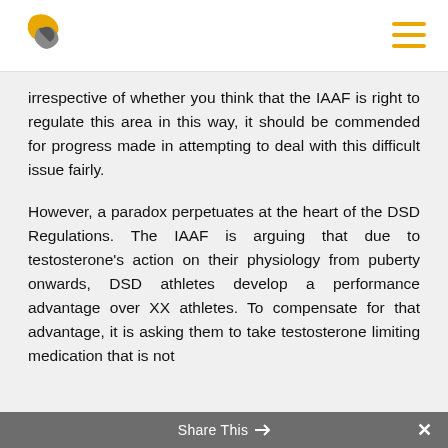[Logo] [Hamburger menu]
irrespective of whether you think that the IAAF is right to regulate this area in this way, it should be commended for progress made in attempting to deal with this difficult issue fairly.
However, a paradox perpetuates at the heart of the DSD Regulations. The IAAF is arguing that due to testosterone’s action on their physiology from puberty onwards, DSD athletes develop a performance advantage over XX athletes. To compensate for that advantage, it is asking them to take testosterone limiting medication that is not
Share This